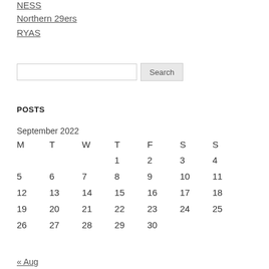NESS
Northern 29ers
RYAS
POSTS
| M | T | W | T | F | S | S |
| --- | --- | --- | --- | --- | --- | --- |
|  |  |  | 1 | 2 | 3 | 4 |
| 5 | 6 | 7 | 8 | 9 | 10 | 11 |
| 12 | 13 | 14 | 15 | 16 | 17 | 18 |
| 19 | 20 | 21 | 22 | 23 | 24 | 25 |
| 26 | 27 | 28 | 29 | 30 |  |  |
« Aug